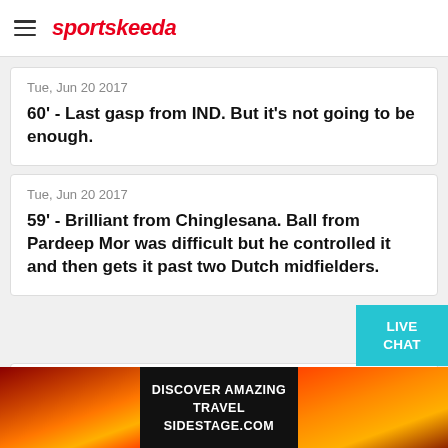sportskeeda
Tue, Jun 20 2017
60' - Last gasp from IND. But it's not going to be enough.
Tue, Jun 20 2017
59' - Brilliant from Chinglesana. Ball from Pardeep Mor was difficult but he controlled it and then gets it past two Dutch midfielders.
Tue, Jun 20 2017
[Figure (infographic): LIVE CHAT button in teal/cyan color]
[Figure (infographic): Advertisement banner: DISCOVER AMAZING TRAVEL SIDESTAGE.COM with sunset/travel imagery]